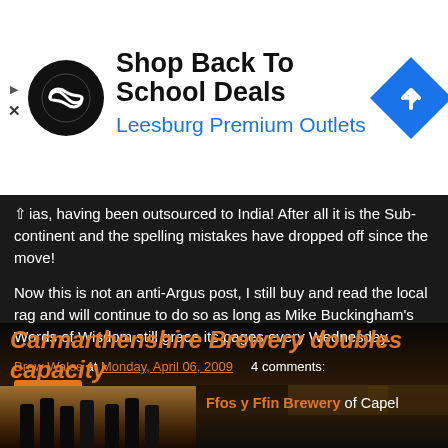[Figure (screenshot): Advertisement banner for Leesburg Premium Outlets showing logo, text 'Shop Back To School Deals', and navigation arrow icon]
...ias, having been outsourced to India! After all it is the Sub-continent and the spelling mistakes have dropped off since the move!
Now this is not an anti-Argus post, I still buy and read the local rag and will continue to do so as long as Mike Buckingham's Words of Wisdom still grace its pages every Wednesday.
Brew Wales at Monday, April 06, 2009   4 comments:
Share
[Figure (photo): Night-time exterior photo of a brewery building with warm lights]
Carmarthenshire Brewery doubles capacity
[Figure (photo): Partial photo showing beer bottles with orange/amber background]
Ffos y Ffin Brewery of Capel